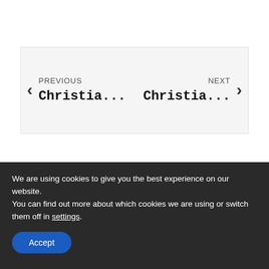[Figure (screenshot): Navigation widget with previous and next links showing 'PREVIOUS Christia...' on the left and 'NEXT Christia...' on the right, with arrow chevrons on each side, inside a light gray box.]
We are using cookies to give you the best experience on our website.
You can find out more about which cookies we are using or switch them off in settings.
Accept